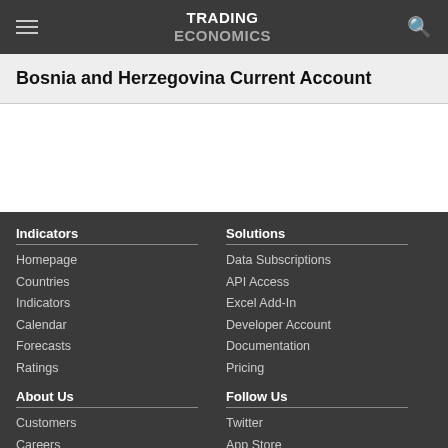TRADING ECONOMICS
Bosnia and Herzegovina Current Account
Indicators
Homepage
Countries
Indicators
Calendar
Forecasts
Ratings
Solutions
Data Subscriptions
API Access
Excel Add-In
Developer Account
Documentation
Pricing
About Us
Customers
Careers
Follow Us
Twitter
App Store